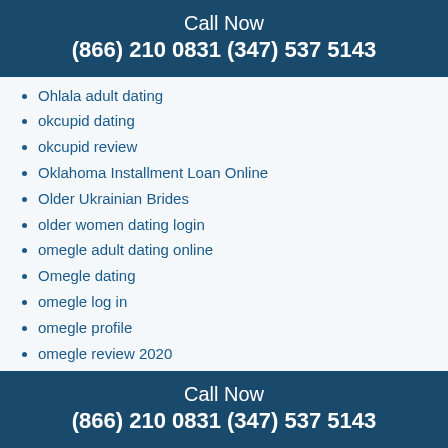Call Now
(866) 210 0831 (347) 537 5143
Ohlala adult dating
okcupid dating
okcupid review
Oklahoma Installment Loan Online
Older Ukrainian Brides
older women dating login
omegle adult dating online
Omegle dating
omegle log in
omegle profile
omegle review 2020
omeglechat.de sein Kommentar ist hier
omgchat hookup hotshot
OMGChat reviews
one hour payday loan
Online Bad Credit Direct Lenders Michigan
Call Now
(866) 210 0831 (347) 537 5143